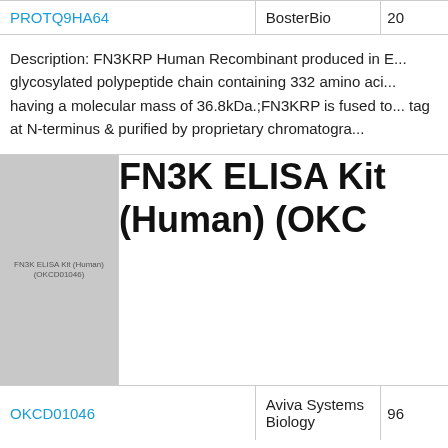| Product | Supplier | Size |
| --- | --- | --- |
| PROTQ9HA64 | BosterBio | 20 |
| Description: FN3KRP Human Recombinant produced in E... glycosylated polypeptide chain containing 332 amino aci... having a molecular mass of 36.8kDa.;FN3KRP is fused to... tag at N-terminus & purified by proprietary chromatogra... |  |  |
| [image] FN3K ELISA Kit (Human) (OKC... |  |  |
| OKCD01046 | Aviva Systems Biology | 96 |